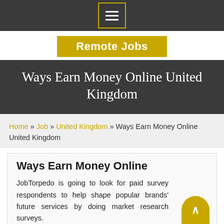[Figure (other): Navigation bar with hamburger menu icon (three horizontal lines) in a bordered box on dark background]
Remote Jobs
Ways Earn Money Online United Kingdom
Home » Job » United Kingdom » Ways Earn Money Online United Kingdom
Ways Earn Money Online
JobTorpedo is going to look for paid survey respondents to help shape popular brands' future services by doing market research surveys.